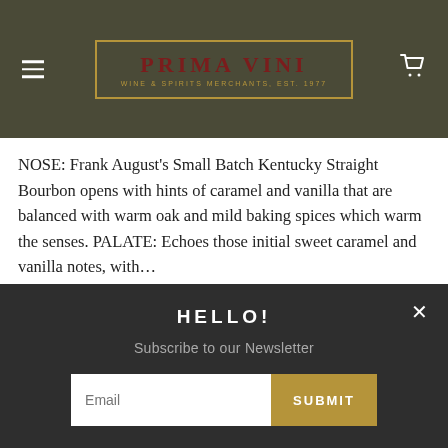[Figure (logo): Prima Vini Wine & Spirits Merchants, Est. 1977 logo in a gold-bordered box on an olive/dark green header bar]
NOSE: Frank August's Small Batch Kentucky Straight Bourbon opens with hints of caramel and vanilla that are balanced with warm oak and mild baking spices which warm the senses. PALATE: Echoes those initial sweet caramel and vanilla notes, with...
$73.99
Quick View
HELLO!
Subscribe to our Newsletter
Email
SUBMIT